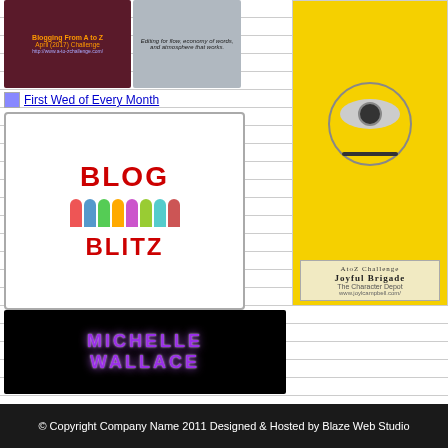[Figure (photo): Blogging From A to Z April (2017) Challenge badge image, purple/maroon background with text]
[Figure (photo): Editing service banner - laptop image with text about editing for flow, economy of words, and atmosphere that works]
First Wed of Every Month
[Figure (logo): Blog Blitz badge - colorful illustrated people in a circle with BLOG BLITZ text]
[Figure (photo): Michelle Wallace personal blog banner - black background with purple glowing text MICHELLE WALLACE and a fiery rose graphic]
[Figure (photo): AtoZ Challenge Joyful Brigade - The Character Depot badge with minion character, www.joylcampbell.com]
© Copyright Company Name 2011 Designed & Hosted by Blaze Web Studio